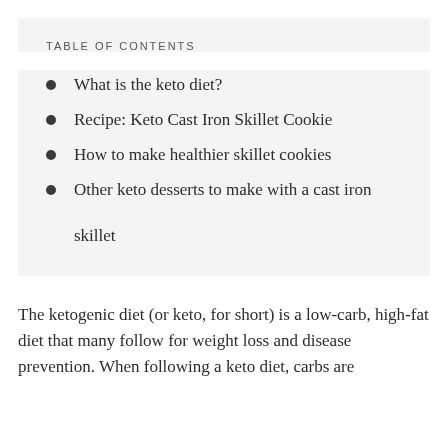TABLE OF CONTENTS
What is the keto diet?
Recipe: Keto Cast Iron Skillet Cookie
How to make healthier skillet cookies
Other keto desserts to make with a cast iron skillet
The ketogenic diet (or keto, for short) is a low-carb, high-fat diet that many follow for weight loss and disease prevention. When following a keto diet, carbs are